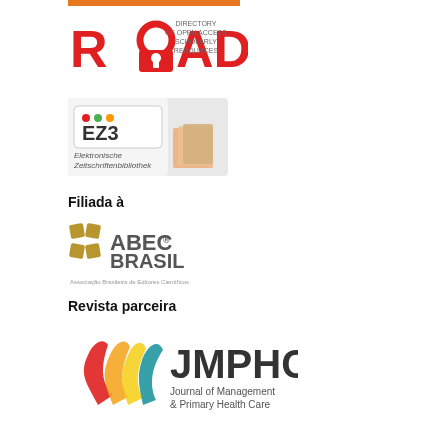[Figure (logo): ROAD - Directory of Open Access Scholarly Resources logo with red open-access padlock icon]
[Figure (logo): EZ3 - Elektronische Zeitschriftenbibliothek logo with books photo background]
Filiada à
[Figure (logo): ABEC Brasil - Associação Brasileira de Editores Científicos logo]
Revista parceira
[Figure (logo): JMPHC - Journal of Management & Primary Health Care logo with colorful wave/leaf icon]